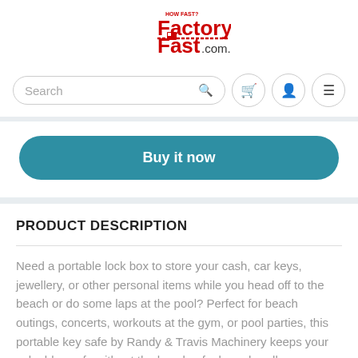[Figure (logo): FactoryFast.com.au logo in red with 'HOW FAST?' tagline above]
Search
Buy it now
PRODUCT DESCRIPTION
Need a portable lock box to store your cash, car keys, jewellery, or other personal items while you head off to the beach or do some laps at the pool? Perfect for beach outings, concerts, workouts at the gym, or pool parties, this portable key safe by Randy & Travis Machinery keeps your valuables safe without the hassle of a large handbag